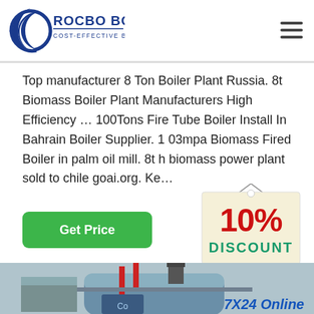[Figure (logo): Rocbo Boiler logo — circular blue crescent with 'ROCBO BOILER' in blue bold text and 'COST-EFFECTIVE BOILER SUPPLIER' beneath in smaller text]
Top manufacturer 8 Ton Boiler Plant Russia. 8t Biomass Boiler Plant Manufacturers High Efficiency … 100Tons Fire Tube Boiler Install In Bahrain Boiler Supplier. 1 03mpa Biomass Fired Boiler in palm oil mill. 8t h biomass power plant sold to chile goai.org. Ke…
[Figure (illustration): Green rounded rectangle button with white bold text 'Get Price']
[Figure (illustration): 10% DISCOUNT badge — cream/tan tag shape with red bold '10%' and teal/green bold 'DISCOUNT' text, hanging on a string]
[Figure (photo): Industrial boiler plant interior photo showing large blue cylindrical boiler with red pipes, metal walkways, and industrial equipment]
[Figure (photo): Female customer service representative with headset smiling, overlaid on the boiler photo, with '7X24 Online' text below in blue italic]